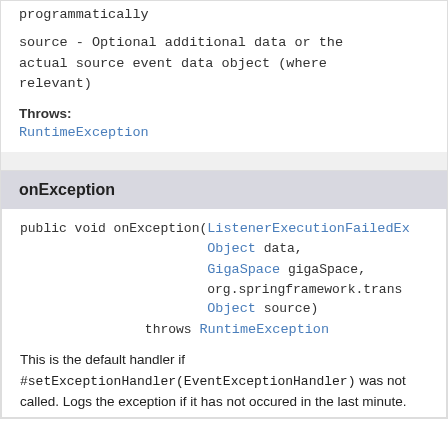programmatically
source - Optional additional data or the actual source event data object (where relevant)
Throws:
RuntimeException
onException
public void onException(ListenerExecutionFailedEx
                        Object data,
                        GigaSpace gigaSpace,
                        org.springframework.trans
                        Object source)
                throws RuntimeException
This is the default handler if #setExceptionHandler(EventExceptionHandler) was not called. Logs the exception if it has not occured in the last minute.